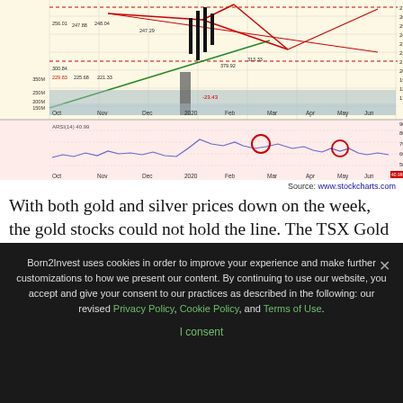[Figure (continuous-plot): Stock chart showing price data (TSX Gold Index or similar) from Oct 2019 to Sep 2020 with candlestick chart in upper panel with trendlines, resistance levels, and volume bars. Lower panel shows RSI(14) at 40.99 with two circled peaks around May and August 2020.]
Source: www.stockcharts.com
With both gold and silver prices down on the week, the gold stocks could not hold the line. The TSX Gold Index (TGD) fell 4.7% while the Gold Bugs Index (HUI) was down 6.6%. We thought it could have been worse, considering the almost
Born2Invest uses cookies in order to improve your experience and make further customizations to how we present our content. By continuing to use our website, you accept and give your consent to our practices as described in the following: our revised Privacy Policy, Cookie Policy, and Terms of Use.
I consent